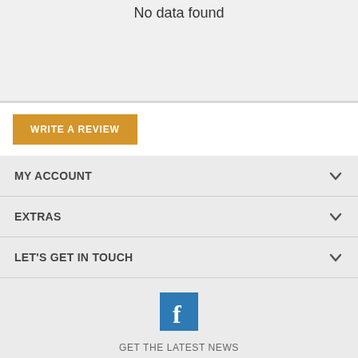No data found
WRITE A REVIEW
MY ACCOUNT
EXTRAS
LET'S GET IN TOUCH
[Figure (logo): Facebook icon - blue square with white F letter]
GET THE LATEST NEWS
Enter e-mail address
[Figure (other): Facebook Messenger floating action button - blue circle with white lightning bolt chat icon]